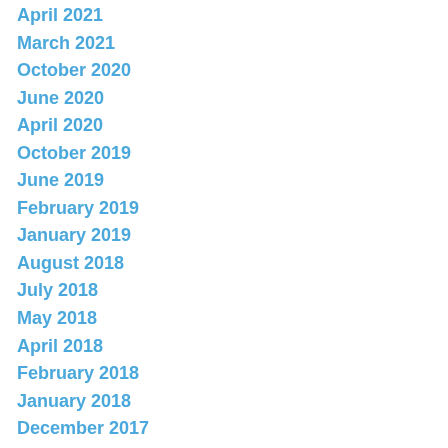April 2021
March 2021
October 2020
June 2020
April 2020
October 2019
June 2019
February 2019
January 2019
August 2018
July 2018
May 2018
April 2018
February 2018
January 2018
December 2017
August 2017
June 2017
May 2017
April 2017